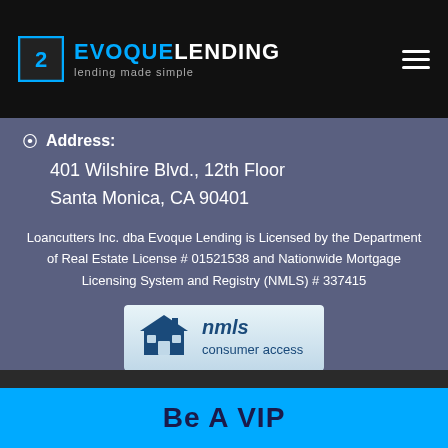[Figure (logo): Evoque Lending logo with blue square icon and text 'EVOQUELENDING lending made simple' on black header bar]
Address:
401 Wilshire Blvd., 12th Floor
Santa Monica, CA 90401
Loancutters Inc. dba Evoque Lending is Licensed by the Department of Real Estate License # 01521538 and Nationwide Mortgage Licensing System and Registry (NMLS) # 337415
[Figure (logo): NMLS Consumer Access badge logo with house/building icon]
Be A VIP